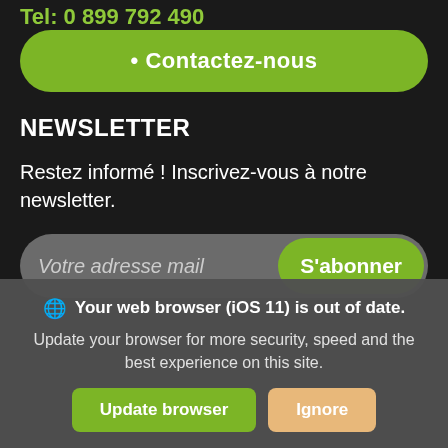Tel: 0 899 792 490
• Contactez-nous
NEWSLETTER
Restez informé ! Inscrivez-vous à notre newsletter.
Votre adresse mail
S'abonner
Your web browser (iOS 11) is out of date.
Update your browser for more security, speed and the best experience on this site.
Update browser
Ignore